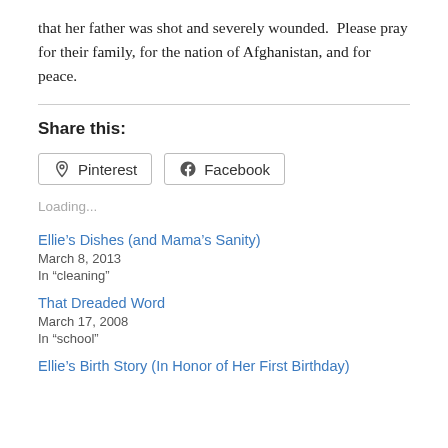that her father was shot and severely wounded.  Please pray for their family, for the nation of Afghanistan, and for peace.
Share this:
Pinterest  Facebook
Loading...
Ellie's Dishes (and Mama's Sanity)
March 8, 2013
In "cleaning"
That Dreaded Word
March 17, 2008
In "school"
Ellie's Birth Story (In Honor of Her First Birthday)